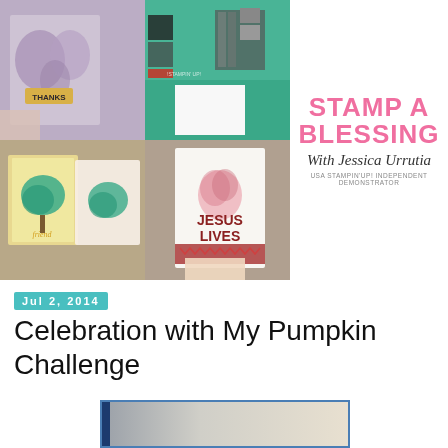[Figure (photo): Collage of stamping/card making photos: top-left shows a purple floral card with THANKS tag, top-right shows a craft desk with ink pads and supplies, bottom-left shows teal tree cards with 'friend' sentiment, bottom-right shows a card being held with pink tree stamp and JESUS LIVES text with red chevron band]
[Figure (logo): Stamp A Blessing logo with pink bold text 'STAMP A BLESSING', script text 'With Jessica Urrutia', and small text 'USA Stampin Up! Independent Demonstrator']
Jul 2, 2014
Celebration with My Pumpkin Challenge
[Figure (photo): Partial image preview at bottom with dark navy left bar and gradient gray-to-warm background]